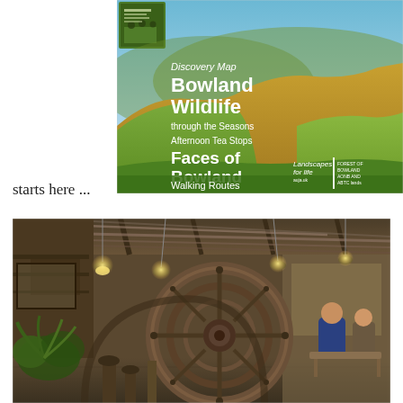[Figure (illustration): Cover of a Discovery Map booklet titled 'Bowland Wildlife through the Seasons', 'Faces of Bowland', 'Afternoon Tea Stops', 'Walking Routes', 'Landscapes for life'. Features a landscape photo of rolling green and golden hills under a blue sky.]
starts here ...
[Figure (photo): Interior photo of an industrial-style venue or cafe with large machinery (a big wheel/gear visible), hanging lights, wooden beams, green plants, and people seated at tables.]